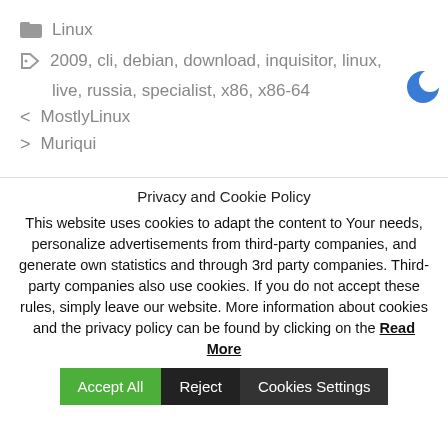Linux
2009, cli, debian, download, inquisitor, linux, live, russia, specialist, x86, x86-64
< MostlyLinux
> Muriqui
Privacy and Cookie Policy
This website uses cookies to adapt the content to Your needs, personalize advertisements from third-party companies, and generate own statistics and through 3rd party companies. Third-party companies also use cookies. If you do not accept these rules, simply leave our website. More information about cookies and the privacy policy can be found by clicking on the Read More
Accept All | Reject | Cookies Settings